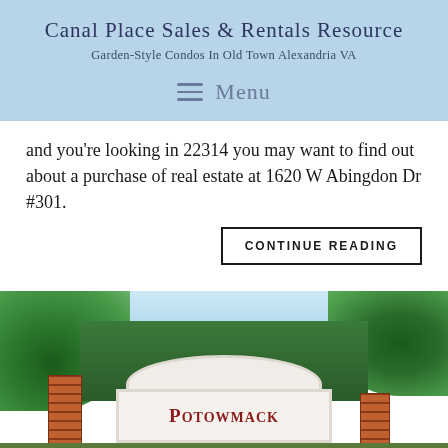Canal Place Sales & Rentals Resource
Garden-Style Condos In Old Town Alexandria VA
Menu
and you're looking in 22314 you may want to find out about a purchase of real estate at 1620 W Abingdon Dr #301.
CONTINUE READING
[Figure (photo): Entrance sign for Potowmack community with brick pillars, white ornamental arch sign, and surrounding trees]